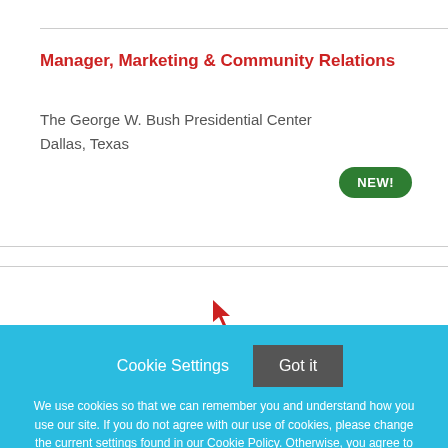Manager, Marketing & Community Relations
The George W. Bush Presidential Center
Dallas, Texas
NEW!
Cookie Settings   Got it
We use cookies so that we can remember you and understand how you use our site. If you do not agree with our use of cookies, please change the current settings found in our Cookie Policy. Otherwise, you agree to the use of the cookies as they are currently set.